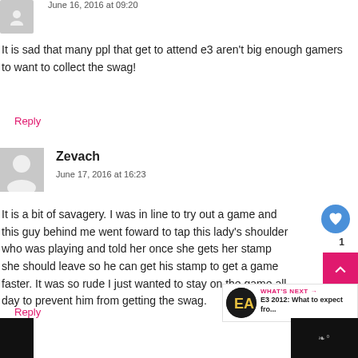June 16, 2016 at 09:20
It is sad that many ppl that get to attend e3 aren't big enough gamers to want to collect the swag!
Reply
Zevach
June 17, 2016 at 16:23
It is a bit of savagery. I was in line to try out a game and this guy behind me went foward to tap this lady's shoulder who was playing and told her once she gets her stamp she should leave so he can get his stamp to get a game faster. It was so rude I just wanted to stay on the game all day to prevent him from getting the swag.
Reply